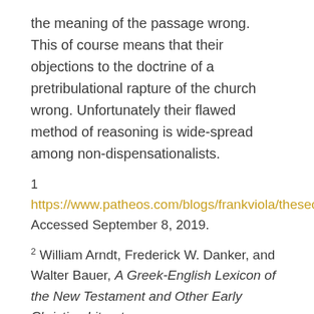the meaning of the passage wrong.  This of course means that their objections to the doctrine of a pretribulational rapture of the church wrong. Unfortunately their flawed method of reasoning is wide-spread among non-dispensationalists.
1
https://www.patheos.com/blogs/frankviola/thesecondcoming/&nbsp; Accessed September 8, 2019.
2 William Arndt, Frederick W. Danker, and Walter Bauer, A Greek-English Lexicon of the New Testament and Other Early Christian Literature